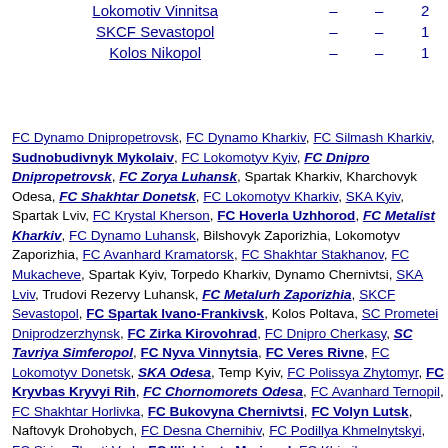| Club |  |  | Points |
| --- | --- | --- | --- |
| Lokomotiv Vinnitsa | – | – | 2 |
| SKCF Sevastopol | – | – | 1 |
| Kolos Nikopol | – | – | 1 |
FC Dynamo Dnipropetrovsk, FC Dynamo Kharkiv, FC Silmash Kharkiv, Sudnobudivnyk Mykolaiv, FC Lokomotyv Kyiv, FC Dnipro Dnipropetrovsk, FC Zorya Luhansk, Spartak Kharkiv, Kharchovyk Odesa, FC Shakhtar Donetsk, FC Lokomotyv Kharkiv, SKA Kyiv, Spartak Lviv, FC Krystal Kherson, FC Hoverla Uzhhorod, FC Metalist Kharkiv, FC Dynamo Luhansk, Bilshovyk Zaporizhia, Lokomotyv Zaporizhia, FC Avanhard Kramatorsk, FC Shakhtar Stakhanov, FC Mukacheve, Spartak Kyiv, Torpedo Kharkiv, Dynamo Chernivtsi, SKA Lviv, Trudovi Rezervy Luhansk, FC Metalurh Zaporizhia, SKCF Sevastopol, FC Spartak Ivano-Frankivsk, Kolos Poltava, SC Prometei Dniprodzerzhynsk, FC Zirka Kirovohrad, FC Dnipro Cherkasy, SC Tavriya Simferopol, FC Nyva Vinnytsia, FC Veres Rivne, FC Lokomotyv Donetsk, SKA Odesa, Temp Kyiv, FC Polissya Zhytomyr, FC Kryvbas Kryvyi Rih, FC Chornomorets Odesa, FC Avanhard Ternopil, FC Shakhtar Horlivka, FC Bukovyna Chernivtsi, FC Volyn Lutsk, Naftovyk Drohobych, FC Desna Chernihiv, FC Podillya Khmelnytskyi, FC Sirius Zhovti Vody, FC Illichivets Mariupol, FC Khimik Sieverodonetsk, FC Frunzenets-Liha-99 Sumy, Trubnyk Nikopol, FC Hirnyk Kryvyi Rih, Shakhtar Oleksandriva, FC Karpaty Lviv, FC Kremin Kremenchuk, FC...